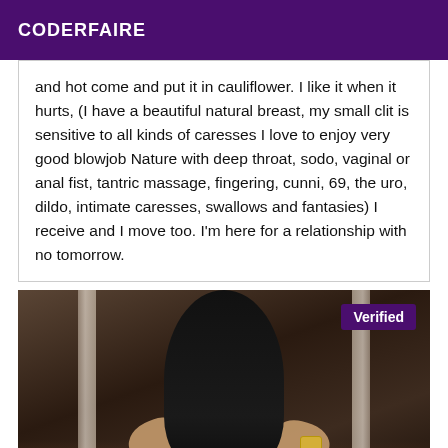CODERFAIRE
and hot come and put it in cauliflower. I like it when it hurts, (I have a beautiful natural breast, my small clit is sensitive to all kinds of caresses I love to enjoy very good blowjob Nature with deep throat, sodo, vaginal or anal fist, tantric massage, fingering, cunni, 69, the uro, dildo, intimate caresses, swallows and fantasies) I receive and I move too. I'm here for a relationship with no tomorrow.
[Figure (photo): A person with long black hair photographed from behind in a dimly lit room, with a 'Verified' badge in the top right corner.]